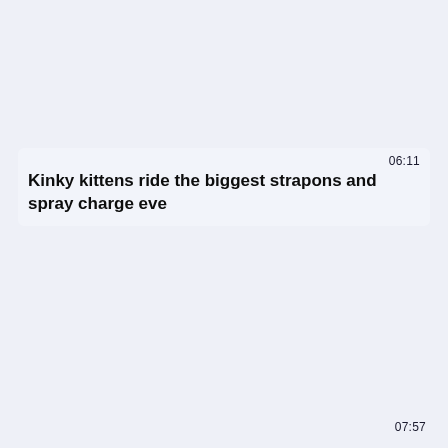06:11
Kinky kittens ride the biggest strapons and spray charge eve
07:57